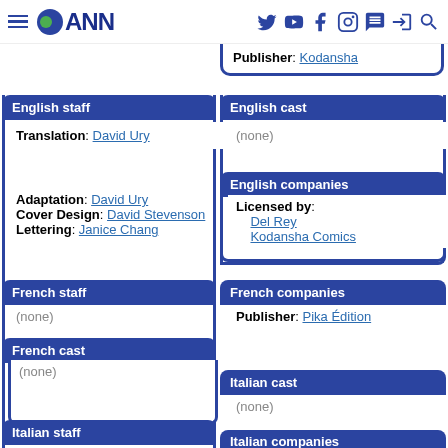ANN
Publisher: Kodansha
English staff
English cast
Translation: David Ury
(none)
English companies
Adaptation: David Ury
Cover Design: David Stevenson
Lettering: Janice Chang
Licensed by:
    Del Rey
    Kodansha Comics
French staff
French companies
(none)
Publisher: Pika Édition
French cast
(none)
Italian cast
Italian staff
(none)
Italian companies
Translation: Manuela Capriati
Publisher: Edizioni Star